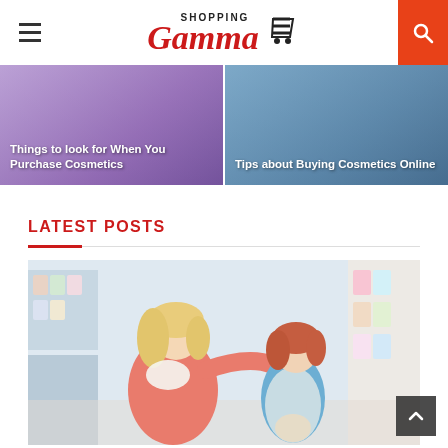[Figure (logo): Shopping Gamma logo with red italic text and shopping cart icon]
[Figure (photo): Two banner cards side by side: left card with purple/cosmetics background showing 'Things to look for When You Purchase Cosmetics', right card with blue background showing 'Tips about Buying Cosmetics Online']
LATEST POSTS
[Figure (photo): Photo of a mother crouching down and interacting with a young child with red/auburn hair in a shopping store aisle with colorful products on shelves]